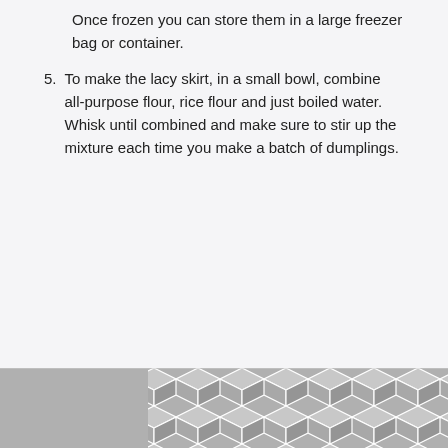Once frozen you can store them in a large freezer bag or container.
5. To make the lacy skirt, in a small bowl, combine all-purpose flour, rice flour and just boiled water. Whisk until combined and make sure to stir up the mixture each time you make a batch of dumplings.
[Figure (illustration): Geometric hexagonal/cube pattern in grey and white tones at the bottom of the page]